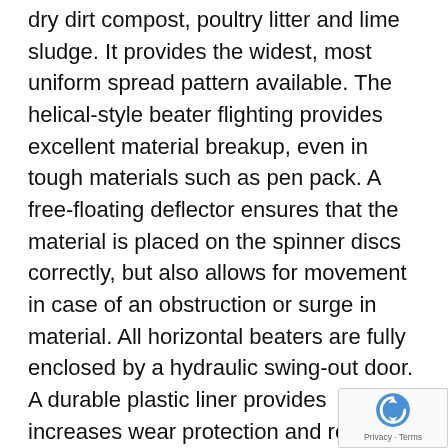dry dirt compost, poultry litter and lime sludge. It provides the widest, most uniform spread pattern available. The helical-style beater flighting provides excellent material breakup, even in tough materials such as pen pack. A free-floating deflector ensures that the material is placed on the spinner discs correctly, but also allows for movement in case of an obstruction or surge in material. All horizontal beaters are fully enclosed by a hydraulic swing-out door. A durable plastic liner provides increases wear protection and reduces friction, preventing material buildup or freeze down.
Horizontal Beaters
Horizontal beaters are most effectively used in spreading applications with dry, coarse materials such as pen pack or yard scrapings. They work well in situations where unloading and high application rates are desired.